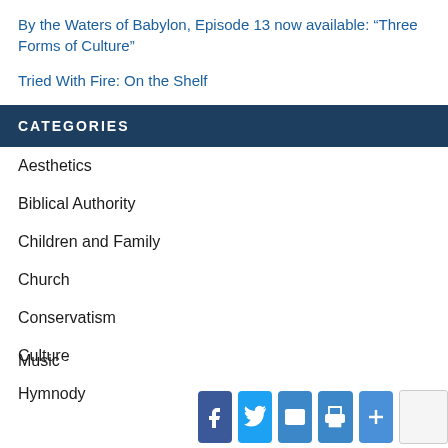By the Waters of Babylon, Episode 13 now available: “Three Forms of Culture”
Tried With Fire: On the Shelf
CATEGORIES
Aesthetics
Biblical Authority
Children and Family
Church
Conservatism
Culture
Hymnody
Music